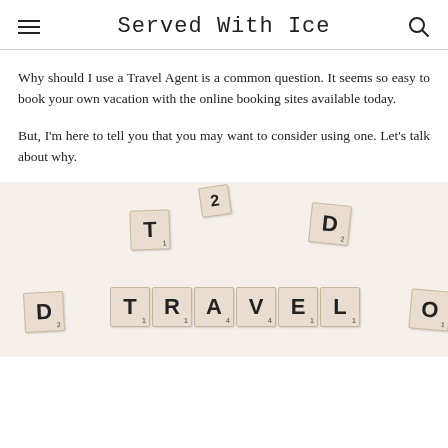Served With Ice
Why should I use a Travel Agent is a common question. It seems so easy to book your own vacation with the online booking sites available today.
But, I'm here to tell you that you may want to consider using one. Let's talk about why.
[Figure (photo): Scrabble tiles arranged to spell TRAVEL on a light background, with scattered individual letter tiles including D, T, and O around the word.]